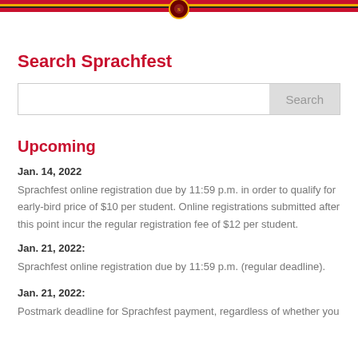[University header bar with logo]
Search Sprachfest
Upcoming
Jan. 14, 2022 — Sprachfest online registration due by 11:59 p.m. in order to qualify for early-bird price of $10 per student. Online registrations submitted after this point incur the regular registration fee of $12 per student.
Jan. 21, 2022: Sprachfest online registration due by 11:59 p.m. (regular deadline).
Jan. 21, 2022: Postmark deadline for Sprachfest payment, regardless of whether you